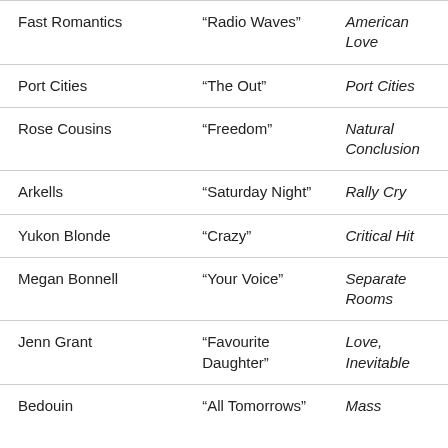| Fast Romantics | “Radio Waves” | American Love |
| Port Cities | “The Out” | Port Cities |
| Rose Cousins | “Freedom” | Natural Conclusion |
| Arkells | “Saturday Night” | Rally Cry |
| Yukon Blonde | “Crazy” | Critical Hit |
| Megan Bonnell | “Your Voice” | Separate Rooms |
| Jenn Grant | “Favourite Daughter” | Love, Inevitable |
| Bedouin | “All Tomorrows” | Mass |